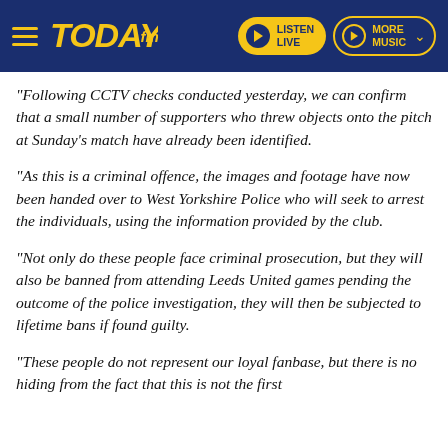TODAY FM — LISTEN LIVE | MORE MUSIC
"Following CCTV checks conducted yesterday, we can confirm that a small number of supporters who threw objects onto the pitch at Sunday's match have already been identified.
"As this is a criminal offence, the images and footage have now been handed over to West Yorkshire Police who will seek to arrest the individuals, using the information provided by the club.
"Not only do these people face criminal prosecution, but they will also be banned from attending Leeds United games pending the outcome of the police investigation, they will then be subjected to lifetime bans if found guilty.
"These people do not represent our loyal fanbase, but there is no hiding from the fact that this is not the first